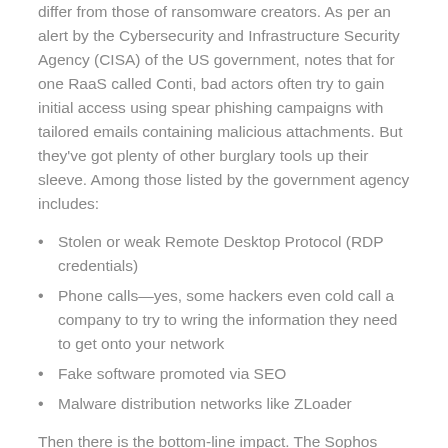differ from those of ransomware creators. As per an alert by the Cybersecurity and Infrastructure Security Agency (CISA) of the US government, notes that for one RaaS called Conti, bad actors often try to gain initial access using spear phishing campaigns with tailored emails containing malicious attachments. But they've got plenty of other burglary tools up their sleeve. Among those listed by the government agency includes:
Stolen or weak Remote Desktop Protocol (RDP credentials)
Phone calls—yes, some hackers even cold call a company to try to wring the information they need to get onto your network
Fake software promoted via SEO
Malware distribution networks like ZLoader
Then there is the bottom-line impact. The Sophos report says the average cost to remediate a ransomware attack was $1.4 million, and the average time it took to recover from an attack was one month.